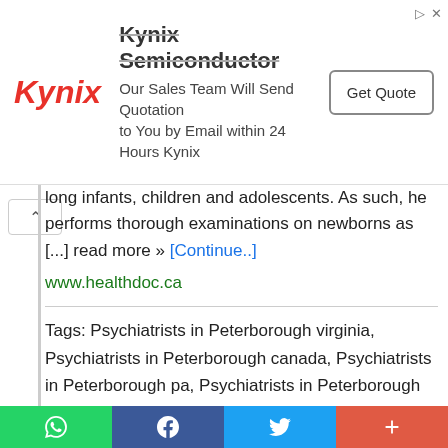[Figure (screenshot): Kynix Semiconductor advertisement banner with logo, tagline 'Our Sales Team Will Send Quotation to You by Email within 24 Hours Kynix' and 'Get Quote' button]
long infants, children and adolescents. As such, he performs thorough examinations on newborns as [...] read more » [Continue..]
www.healthdoc.ca
Tags: Psychiatrists in Peterborough virginia, Psychiatrists in Peterborough canada, Psychiatrists in Peterborough pa, Psychiatrists in Peterborough ohio, Psychiatrists in Peterborough nj, Psychiatrists in Peterborough nc, Psychiatrists in Peterborough ny, Psychiatrists in Peterborough jamaica